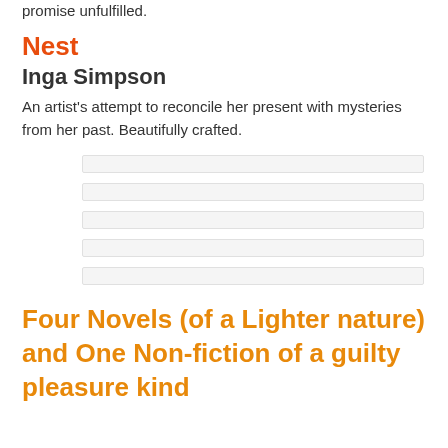promise unfulfilled.
Nest
Inga Simpson
An artist's attempt to reconcile her present with mysteries from her past. Beautifully crafted.
[Figure (other): Rating or review bar indicators — five horizontal light-grey bars arranged in groups]
Four Novels (of a Lighter nature) and One Non-fiction of a guilty pleasure kind